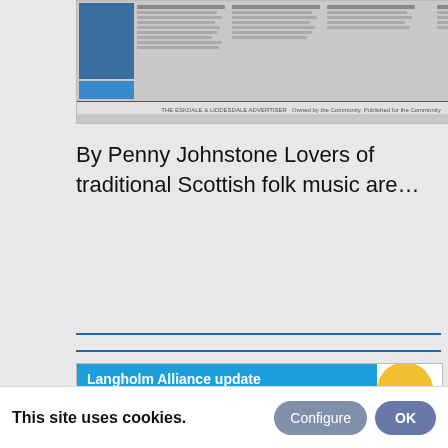[Figure (screenshot): Thumbnail of Eskdale & Liddesdale Advertiser newspaper front page, top portion]
By Penny Johnstone Lovers of traditional Scottish folk music are…
[Figure (screenshot): Eskdale & Liddesdale Advertiser newspaper front page showing 'Langholm Alliance update' header in blue, newspaper masthead, and headline 'Langholm misses out on major investment' with subheading 'Town comes too low on index of need to qualify for funding']
This site uses cookies.